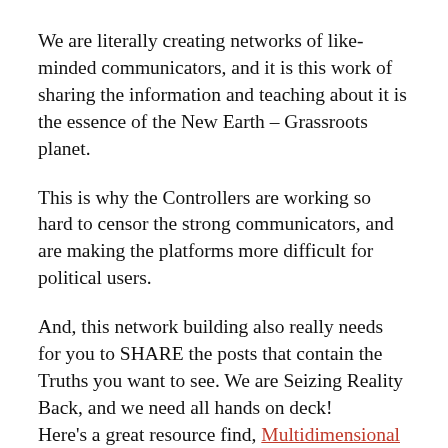We are literally creating networks of like-minded communicators, and it is this work of sharing the information and teaching about it is the essence of the New Earth – Grassroots planet.
This is why the Controllers are working so hard to censor the strong communicators, and are making the platforms more difficult for political users.
And, this network building also really needs for you to SHARE the posts that contain the Truths you want to see. We are Seizing Reality Back, and we need all hands on deck!
Here's a great resource find, Multidimensional Consciousness – a communications tool of the Institute of Spiritual Science:
THE INSTITUTE OF SPIRITUAL SCIENCE, INC. IS